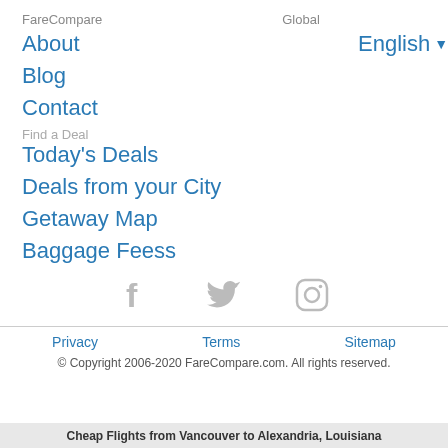FareCompare
Global
About
English ▾
Blog
Contact
Find a Deal
Today's Deals
Deals from your City
Getaway Map
Baggage Feess
[Figure (other): Social media icons: Facebook, Twitter, Instagram (gray)]
Privacy   Terms   Sitemap
© Copyright 2006-2020 FareCompare.com. All rights reserved.
Cheap Flights from Vancouver to Alexandria, Louisiana